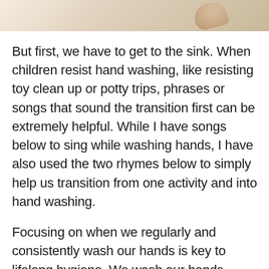[Figure (photo): Partial view of a photo showing hands near a sink or bowl, with warm beige/cream tones visible at the top of the page.]
But first, we have to get to the sink. When children resist hand washing, like resisting toy clean up or potty trips, phrases or songs that sound the transition first can be extremely helpful. While I have songs below to sing while washing hands, I have also used the two rhymes below to simply help us transition from one activity and into hand washing.
Focusing on when we regularly and consistently wash our hands is key to lifelong hygiene. We wash our hands